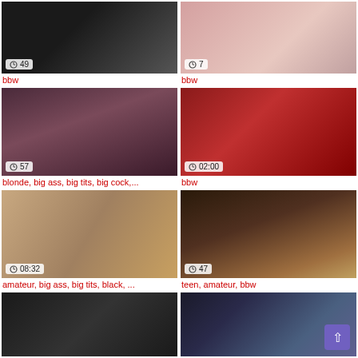[Figure (screenshot): Video thumbnail dark/black, duration 49 seconds]
bbw
[Figure (screenshot): Video thumbnail skin tones, duration 7 seconds]
bbw
[Figure (screenshot): Video thumbnail dark purple/brown tones, duration 57 seconds]
blonde, big ass, big tits, big cock,...
[Figure (screenshot): Video thumbnail red tones with nails, duration 02:00]
bbw
[Figure (screenshot): Video thumbnail tan/brown tones, duration 08:32]
amateur, big ass, big tits, black, ...
[Figure (screenshot): Video thumbnail dark brown tones, duration 47 seconds]
teen, amateur, bbw
[Figure (screenshot): Video thumbnail dark, person visible]
[Figure (screenshot): Video thumbnail room with blue light, woman visible, back-to-top button]